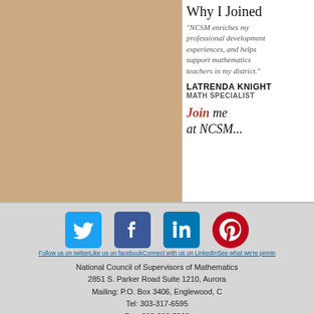[Figure (photo): Tan/beige colored rectangular block on left side of page]
Why I Joined
"NCSM enriches my professional development experiences, and helps support mathematics teachers in my district."
LATRENDA KNIGHT
MATH SPECIALIST
Join me at NCSM...
JOIN
[Figure (logo): Twitter bird logo blue square icon]
[Figure (logo): Facebook F logo blue square icon]
[Figure (logo): LinkedIn in logo blue square icon]
[Figure (logo): Pinterest P logo red circle icon]
Follow us on twitter Like us on facebook Connect with us on LinkedIn See what we're pinning
National Council of Supervisors of Mathematics
2851 S. Parker Road Suite 1210, Aurora
Mailing: P.O. Box 3406, Englewood, C
Tel: 303-317-6595
Fax: 303-200-7099